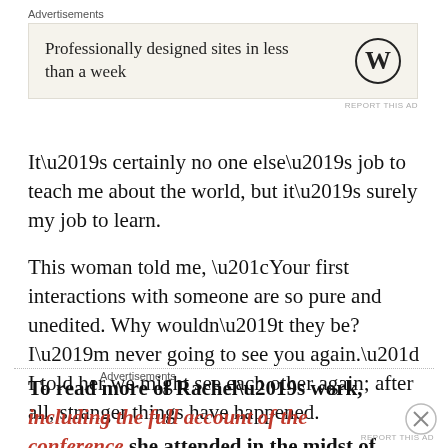[Figure (other): Advertisement banner: WordPress logo with text 'Professionally designed sites in less than a week' on beige background]
It’s certainly no one else’s job to teach me about the world, but it’s surely my job to learn.
This woman told me, “Your first interactions with someone are so pure and unedited. Why wouldn’t they be? I’m never going to see you again.” I told her we might see each other again; after all, stranger things have happened.
To read more of Rachel’s work, including the full account of the conference she attended in the midst of
Advertisements